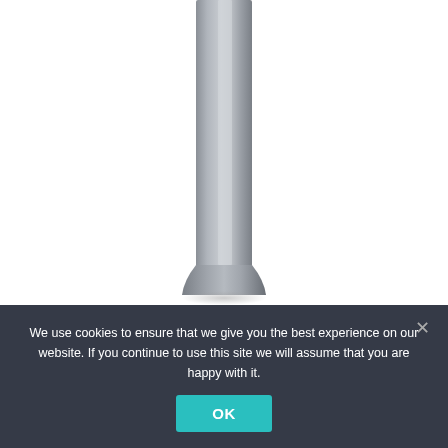[Figure (photo): Product photo of a tall, slim grey outdoor bollard light (Leds C4 Haute) on a white background, showing the upper and middle shaft of the bollard in urban grey finish.]
Leds C4 Haute Ip65 7w Led 900mm Outdoor Bollard Light Urban Grey 55 9834 34 Cl None Bollard Lighting Led Light
We use cookies to ensure that we give you the best experience on our website. If you continue to use this site we will assume that you are happy with it.